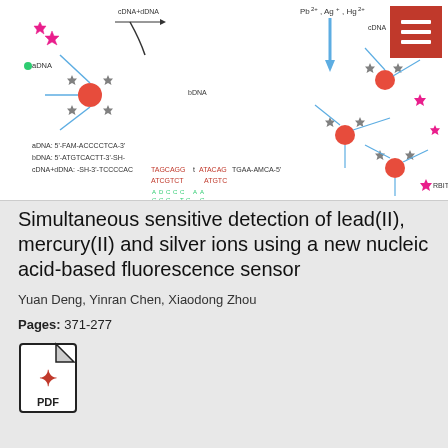[Figure (schematic): Scientific diagram showing simultaneous detection mechanism using DNA strands and fluorescent labels (RBITC, AMCA, FAM) for Pb2+, Hg2+, and Ag+ ions. Shows aDNA, bDNA, cDNA+dDNA sequences with labels for RBITC, AMCA, FAM fluorophores and Hg2+, Ag+ ion indicators.]
Simultaneous sensitive detection of lead(II), mercury(II) and silver ions using a new nucleic acid-based fluorescence sensor
Yuan Deng, Yinran Chen, Xiaodong Zhou
Pages: 371-277
[Figure (other): PDF file icon]